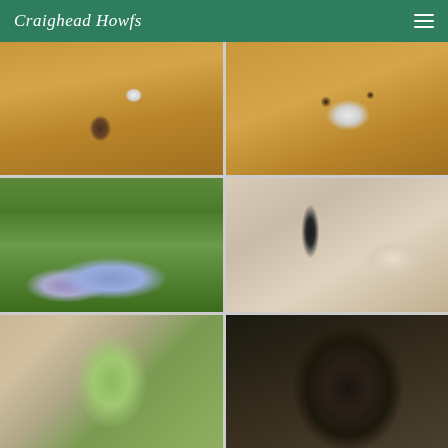Craighead Howfs
[Figure (photo): Baby goat standing in hay inside a barn]
[Figure (photo): Spotted baby goat lying in hay, close-up view from above]
[Figure (photo): Garden path with blue and purple flowers in foreground and trees in background]
[Figure (photo): Cozy living room interior with wood burning stove and windows]
[Figure (photo): View through a window to green garden outside]
[Figure (photo): Close-up of a dark fluffy dog]